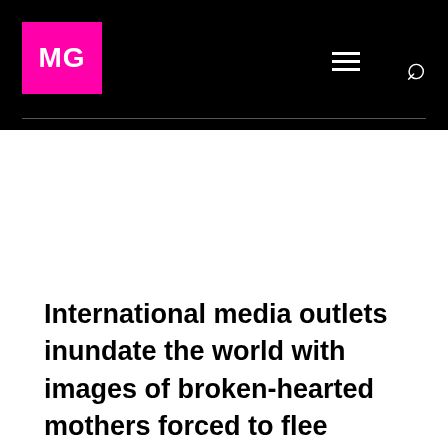MG
International media outlets inundate the world with images of broken-hearted mothers forced to flee Ukraine, seeking safety and stability for their young children. These noble women leave behind brave husbands, sons, fathers, and male relatives who desperately fight to protect their nation’s sovereignty from an oppressive invading force.  Foreign Policy details: “The silent suffering of…